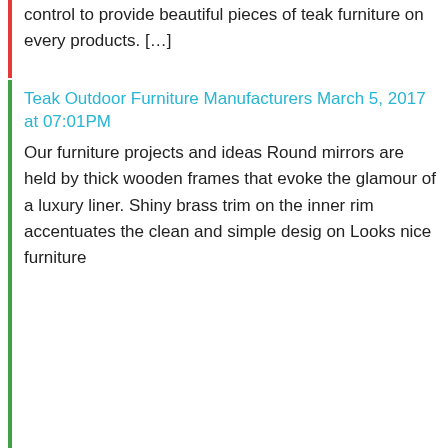control to provide beautiful pieces of teak furniture on every products. […]
Teak Outdoor Furniture Manufacturers March 5, 2017 at 07:01PM
Our furniture projects and ideas Round mirrors are held by thick wooden frames that evoke the glamour of a luxury liner. Shiny brass trim on the inner rim accentuates the clean and simple desig on Looks nice furniture
Awesome Carpentry Advice To Provide You Began
Have you been keen on woodworking? Is it something you possess carried out in the past, or are you currently making wood projects? In all kinds of wood working, there are particular strategies to be learned. In this article, we will review some typical types. Read on and you'll learn a great deal about